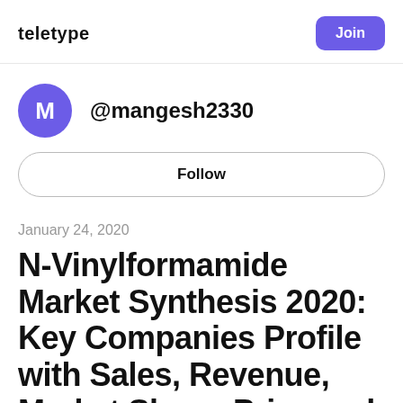teletype
Join
@mangesh2330
Follow
January 24, 2020
N-Vinylformamide Market Synthesis 2020: Key Companies Profile with Sales, Revenue, Market Share, Price and Competitive Situation Analysis